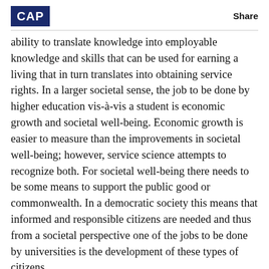CAP    Share
ability to translate knowledge into employable knowledge and skills that can be used for earning a living that in turn translates into obtaining service rights. In a larger societal sense, the job to be done by higher education vis-à-vis a student is economic growth and societal well-being. Economic growth is easier to measure than the improvements in societal well-being; however, service science attempts to recognize both. For societal well-being there needs to be some means to support the public good or commonwealth. In a democratic society this means that informed and responsible citizens are needed and thus from a societal perspective one of the jobs to be done by universities is the development of these types of citizens.